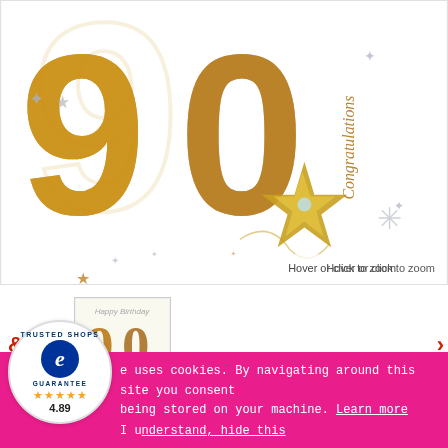[Figure (illustration): 90th birthday card illustration showing large decorative gold/brown '90' numerals with stars and 'Congratulations' text in cursive, with 'Hover or click to zoom' hint]
[Figure (thumbnail): Thumbnail image of the 90th birthday card showing '90 Happy Birthday' text with gold decorative numerals]
[Figure (logo): Trusted Shops guarantee badge with blue 'e' logo, 4.89 star rating]
e uses cookies. By navigating around this site you consent being stored on your machine. Learn more
I understand, hide this